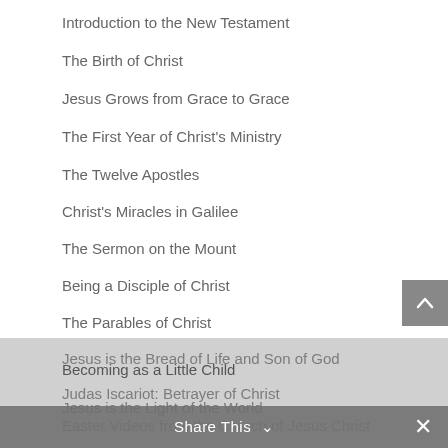Introduction to the New Testament
The Birth of Christ
Jesus Grows from Grace to Grace
The First Year of Christ's Ministry
The Twelve Apostles
Christ's Miracles in Galilee
The Sermon on the Mount
Being a Disciple of Christ
The Parables of Christ
Jesus is the Bread of Life and Son of God
Judas Iscariot: Betrayer of Christ
Easter Videos from the Church of Jesus Christ
The Keys of the Kingdom of Christ
Becoming as a Little Child
Jesus is the Light of the World
Share This ∨  ×